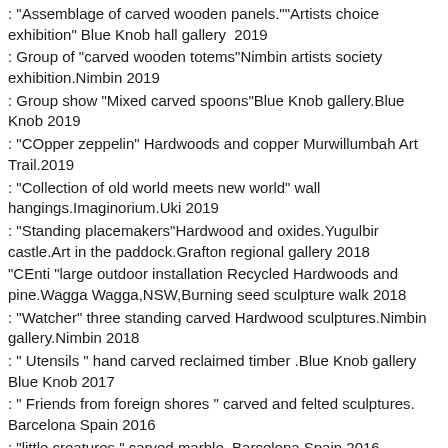: "Assemblage of carved wooden panels.""Artists choice exhibition" Blue Knob hall gallery  2019
: Group of "carved wooden totems"Nimbin artists society exhibition.Nimbin 2019
: Group show "Mixed carved spoons"Blue Knob gallery.Blue Knob 2019
: "COpper zeppelin" Hardwoods and copper Murwillumbah Art Trail.2019
: "Collection of old world meets new world" wall hangings.Imaginorium.Uki 2019
: "Standing placemakers"Hardwood and oxides.Yugulbir castle.Art in the paddock.Grafton regional gallery 2018
"CEnti "large outdoor installation Recycled Hardwoods and pine.Wagga Wagga,NSW,Burning seed sculpture walk 2018
: "Watcher" three standing carved Hardwood sculptures.Nimbin gallery.Nimbin 2018
: " Utensils " hand carved reclaimed timber .Blue Knob gallery Blue Knob 2017
: " Friends from foreign shores " carved and felted sculptures. Barcelona Spain 2016
: "little creatures." carved marble. Barcelona Spain 2016